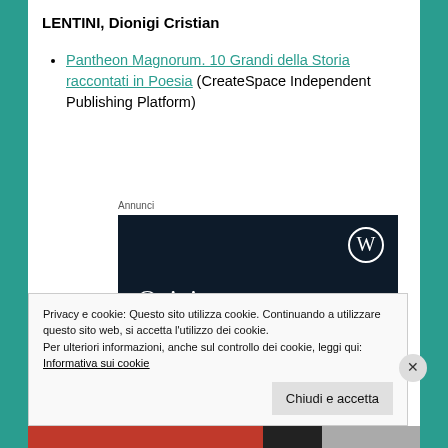LENTINI, Dionigi Cristian
Pantheon Magnorum. 10 Grandi della Storia raccontati in Poesia (CreateSpace Independent Publishing Platform)
Annunci
[Figure (screenshot): WordPress advertisement banner with dark navy background showing 'Opinions.' text and WordPress logo]
Privacy e cookie: Questo sito utilizza cookie. Continuando a utilizzare questo sito web, si accetta l’utilizzo dei cookie.
Per ulteriori informazioni, anche sul controllo dei cookie, leggi qui:
Informativa sui cookie
Chiudi e accetta